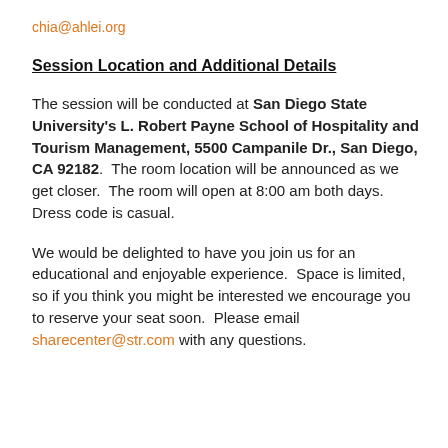chia@ahlei.org
Session Location and Additional Details
The session will be conducted at San Diego State University's L. Robert Payne School of Hospitality and Tourism Management, 5500 Campanile Dr., San Diego, CA 92182.  The room location will be announced as we get closer.  The room will open at 8:00 am both days.  Dress code is casual.
We would be delighted to have you join us for an educational and enjoyable experience.  Space is limited, so if you think you might be interested we encourage you to reserve your seat soon.  Please email sharecenter@str.com with any questions.